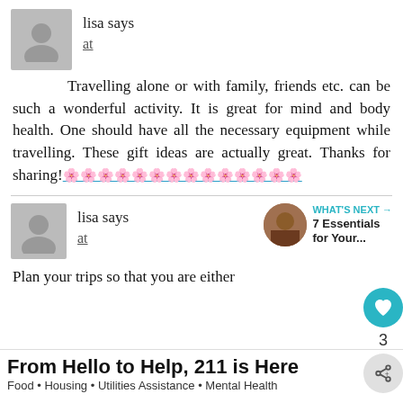lisa says
at
Travelling alone or with family, friends etc. can be such a wonderful activity. It is great for mind and body health. One should have all the necessary equipment while travelling. These gift ideas are actually great. Thanks for sharing!🌸🌸🌸🌸🌸🌸🌸🌸🌸🌸🌸🌸🌸🌸
lisa says
at
Plan your trips so that you are either
WHAT'S NEXT → 7 Essentials for Your...
From Hello to Help, 211 is Here
Food • Housing • Utilities Assistance • Mental Health